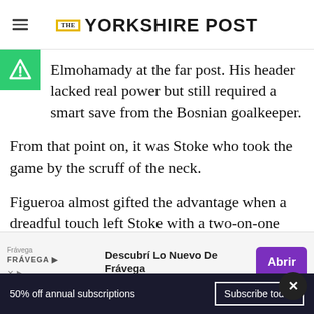THE YORKSHIRE POST
Elmohamady at the far post. His header lacked real power but still required a smart save from the Bosnian goalkeeper.
From that point on, it was Stoke who took the game by the scruff of the neck.
Figueroa almost gifted the advantage when a dreadful touch left Stoke with a two-on-one adv
[Figure (screenshot): Advertisement banner for Frávega: 'Descubrí Lo Nuevo De Frávega' with an 'Abrir' button]
Arnautovic was the man in possession but
50% off annual subscriptions  Subscribe today